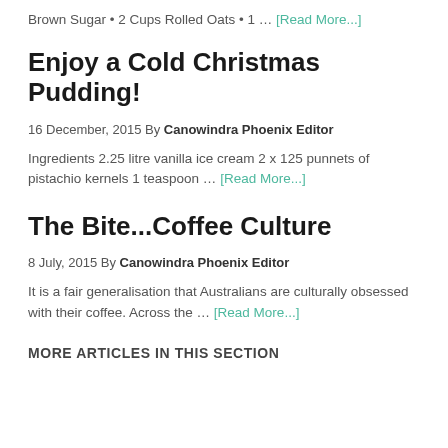Brown Sugar • 2 Cups Rolled Oats • 1 … [Read More...]
Enjoy a Cold Christmas Pudding!
16 December, 2015 By Canowindra Phoenix Editor
Ingredients 2.25 litre vanilla ice cream 2 x 125 punnets of pistachio kernels 1 teaspoon … [Read More...]
The Bite...Coffee Culture
8 July, 2015 By Canowindra Phoenix Editor
It is a fair generalisation that Australians are culturally obsessed with their coffee. Across the … [Read More...]
MORE ARTICLES IN THIS SECTION